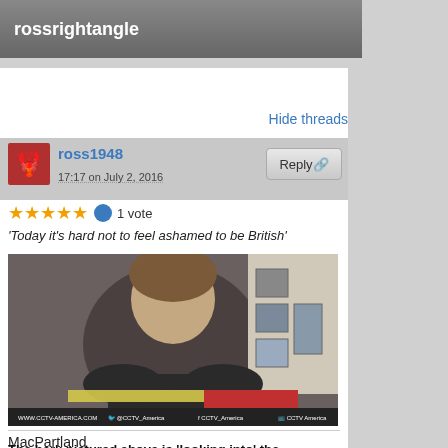rossrightangle
Hide threads
ross1948
17:17 on July 2, 2016
★★★★★ 1 vote
'Today it's hard not to feel ashamed to be British'
[Figure (photo): Screenshot of a TV news broadcast on CCTV America showing a man being interviewed]
MacPartland
The berk pictured above is 'looking into' the